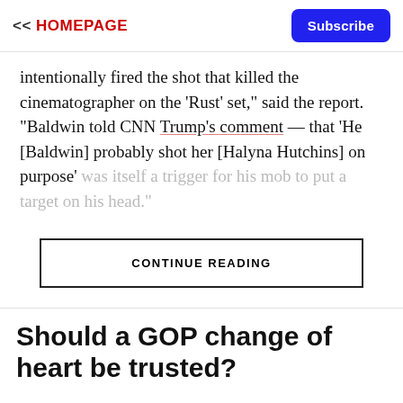<< HOMEPAGE  Subscribe
intentionally fired the shot that killed the cinematographer on the 'Rust' set," said the report. "Baldwin told CNN Trump's comment — that 'He [Baldwin] probably shot her [Halyna Hutchins] on purpose' was itself a trigger for his mob to put a target on his head."
CONTINUE READING
Should a GOP change of heart be trusted?